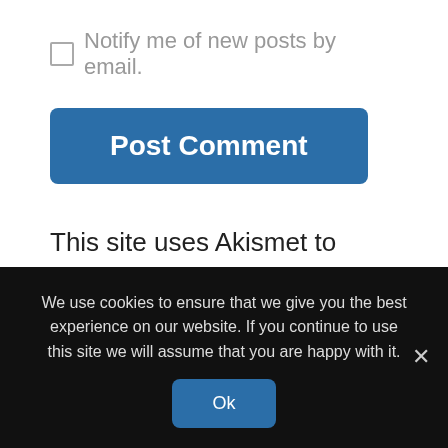Notify me of new posts by email.
[Figure (other): Post Comment button - blue rounded rectangle button with white bold text]
This site uses Akismet to reduce spam. Learn how your comment data is processed.
We use cookies to ensure that we give you the best experience on our website. If you continue to use this site we will assume that you are happy with it.
[Figure (other): Ok button - blue rounded rectangle button with white text, cookie consent bar]